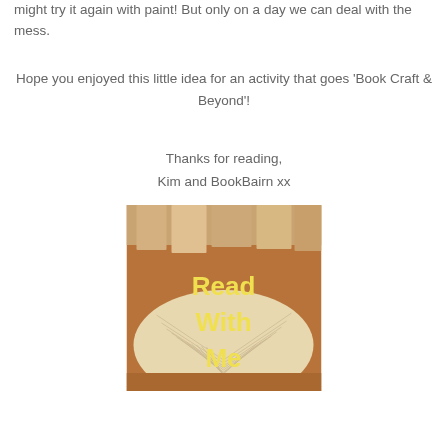might try it again with paint! But only on a day we can deal with the mess.
Hope you enjoyed this little idea for an activity that goes 'Book Craft & Beyond'!
Thanks for reading,
Kim and BookBairn xx
[Figure (photo): Photo of stacked open books on a carpet with yellow bold text overlay reading 'Read With Me']